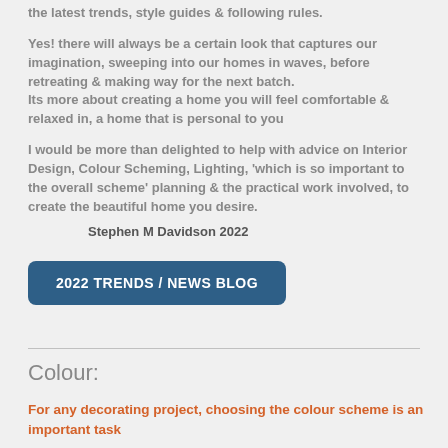the latest trends, style guides & following rules.
Yes! there will always be a certain look that captures our imagination, sweeping into our homes in waves, before retreating & making way for the next batch.
Its more about creating a home you will feel comfortable & relaxed in, a home that is personal to you
I would be more than delighted to help with advice on Interior Design, Colour Scheming, Lighting, 'which is so important to the overall scheme' planning & the practical work involved, to create the beautiful home you desire.
Stephen M Davidson 2022
2022 TRENDS / NEWS  BLOG
Colour:
For any decorating project, choosing the colour scheme is an important task